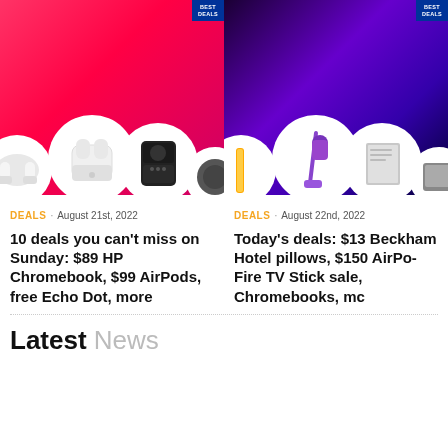[Figure (photo): Left card image: pink/red gradient background with white circular frames containing AirPods, air fryer, and other products, with Best Deals badge]
DEALS · August 21st, 2022
10 deals you can't miss on Sunday: $89 HP Chromebook, $99 AirPods, free Echo Dot, more
[Figure (photo): Right card image: dark purple gradient background with white circular frames containing Dyson vacuum, smart light strip, and other products, with Best Deals badge]
DEALS · August 22nd, 2022
Today's deals: $13 Beckham Hotel pillows, $150 AirPods, Fire TV Stick sale, Chromebooks, more
Latest News